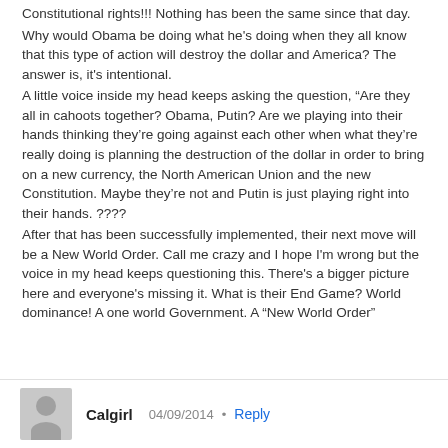Constitutional rights!!! Nothing has been the same since that day.
Why would Obama be doing what he's doing when they all know that this type of action will destroy the dollar and America? The answer is, it's intentional.
A little voice inside my head keeps asking the question, “Are they all in cahoots together? Obama, Putin? Are we playing into their hands thinking they’re going against each other when what they’re really doing is planning the destruction of the dollar in order to bring on a new currency, the North American Union and the new Constitution. Maybe they’re not and Putin is just playing right into their hands. ????
After that has been successfully implemented, their next move will be a New World Order. Call me crazy and I hope I'm wrong but the voice in my head keeps questioning this. There's a bigger picture here and everyone's missing it. What is their End Game? World dominance! A one world Government. A “New World Order”
Calgirl   04/09/2014  Reply